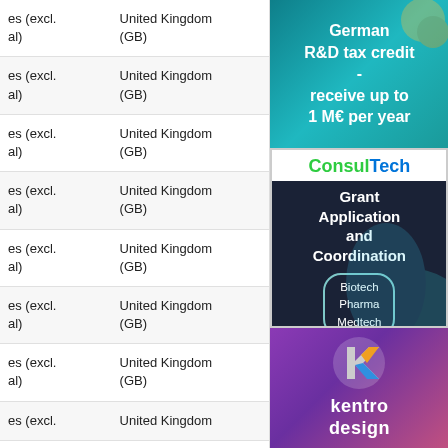| (excl. al) | United Kingdom (GB) |
| --- | --- |
| es (excl. al) | United Kingdom (GB) |
| es (excl. al) | United Kingdom (GB) |
| es (excl. al) | United Kingdom (GB) |
| es (excl. al) | United Kingdom (GB) |
| es (excl. al) | United Kingdom (GB) |
| es (excl. al) | United Kingdom (GB) |
| es (excl. al) | United Kingdom (GB) |
| es (excl. al) | United Kingdom (GB) |
[Figure (infographic): German R&D tax credit - receive up to 1 M€ per year. Teal background with image of money/coins.]
[Figure (infographic): ConsulTech - Grant Application and Coordination. Biotech, Pharma, Medtech. Dark navy background with teal DNA/science imagery.]
[Figure (logo): kentro design logo on purple/pink gradient background.]